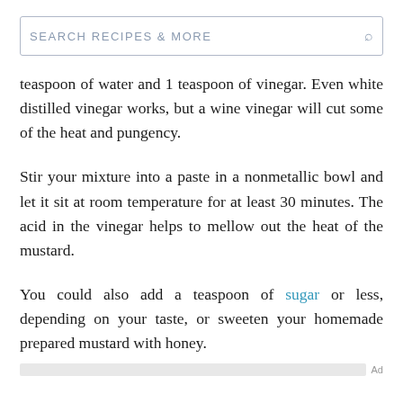SEARCH RECIPES & MORE
teaspoon of water and 1 teaspoon of vinegar. Even white distilled vinegar works, but a wine vinegar will cut some of the heat and pungency.
Stir your mixture into a paste in a nonmetallic bowl and let it sit at room temperature for at least 30 minutes. The acid in the vinegar helps to mellow out the heat of the mustard.
You could also add a teaspoon of sugar or less, depending on your taste, or sweeten your homemade prepared mustard with honey.
Ad